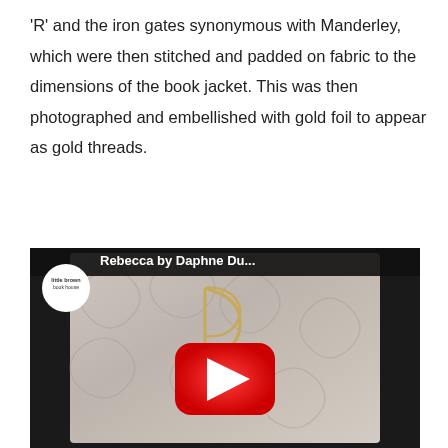'R' and the iron gates synonymous with Manderley, which were then stitched and padded on fabric to the dimensions of the book jacket. This was then photographed and embellished with gold foil to appear as gold threads.
[Figure (screenshot): YouTube video thumbnail showing a book cover of 'Rebecca by Daphne Du Maurier' — a white/cream embossed fabric book cover with gold thread detailing in the shape of an 'R', lying on a marble surface. The video has a YouTube play button overlay. The YouTube channel logo (Little Brown Book House) appears in the top-left circle.]